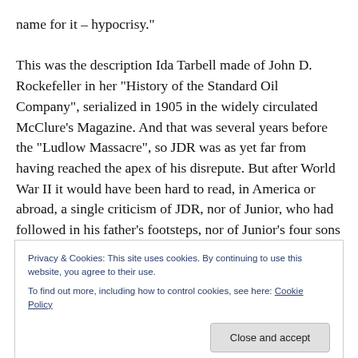name for it – hypocrisy."

This was the description Ida Tarbell made of John D. Rockefeller in her “History of the Standard Oil Company”, serialized in 1905 in the widely circulated McClure’s Magazine. And that was several years before the “Ludlow Massacre”, so JDR was as yet far from having reached the apex of his disrepute. But after World War II it would have been hard to read, in America or abroad, a single criticism of JDR, nor of Junior, who had followed in his father’s footsteps, nor of Junior’s four sons who all
Privacy & Cookies: This site uses cookies. By continuing to use this website, you agree to their use.
To find out more, including how to control cookies, see here: Cookie Policy
Close and accept
Ironically, the two apparently most NEGATIVE events in